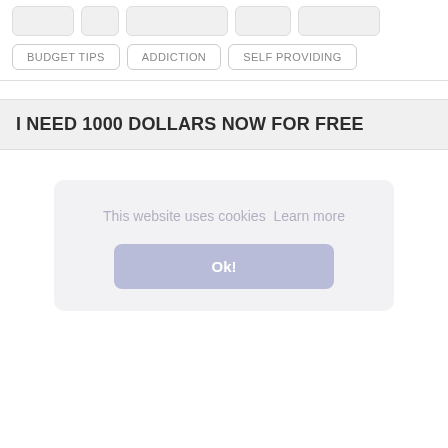BUDGET TIPS
ADDICTION
SELF PROVIDING
I NEED 1000 DOLLARS NOW FOR FREE
This website uses cookies  Learn more
Ok!